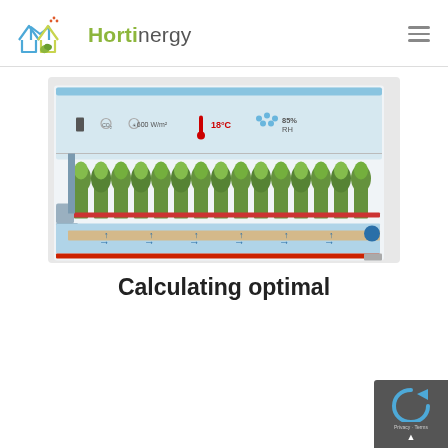Hortinergy
[Figure (illustration): Greenhouse cross-section diagram showing CO2 enrichment, 600 W/m² light, 18°C temperature, 85% RH, with plants in rows and heating/cooling system pipes, blue water channels, and circulation arrows.]
Calculating optimal